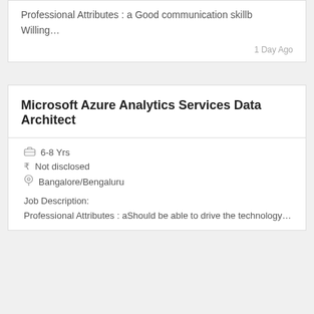Professional Attributes : a Good communication skillb Willing…
1 Day Ago
Microsoft Azure Analytics Services Data Architect
6-8 Yrs
Not disclosed
Bangalore/Bengaluru
Job Description:
Professional Attributes : aShould be able to drive the technology…